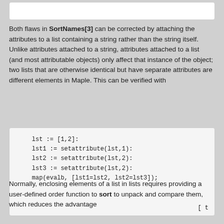Both flaws in SortNames[3] can be corrected by attaching the attributes to a list containing a string rather than the string itself. Unlike attributes attached to a string, attributes attached to a list (and most attributable objects) only affect that instance of the object; two lists that are otherwise identical but have separate attributes are different elements in Maple. This can be verified with
lst := [1,2]:
lst1 := setattribute(lst,1):
lst2 := setattribute(lst,2):
lst3 := setattribute(lst,2):
map(evalb, [lst1=lst2, lst2=lst3]);
                                        [ t
Normally, enclosing elements of a list in lists requires providing a user-defined order function to sort to unpack and compare them, which reduces the advantage